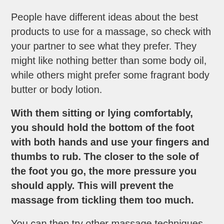People have different ideas about the best products to use for a massage, so check with your partner to see what they prefer. They might like nothing better than some body oil, while others might prefer some fragrant body butter or body lotion.
With them sitting or lying comfortably, you should hold the bottom of the foot with both hands and use your fingers and thumbs to rub. The closer to the sole of the foot you go, the more pressure you should apply. This will prevent the massage from tickling them too much.
You can then try other massage techniques of their feet to help them relax, and don't be afraid to extend the actions up their sexy long legs. This will get both of you used to touching their feet and they may find themselves wanting more.